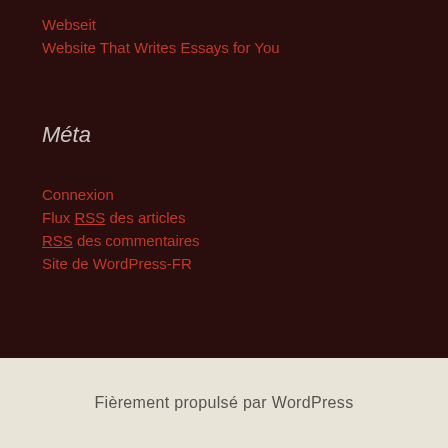Webseit
Website That Writes Essays for You
Méta
Connexion
Flux RSS des articles
RSS des commentaires
Site de WordPress-FR
Fièrement propulsé par WordPress